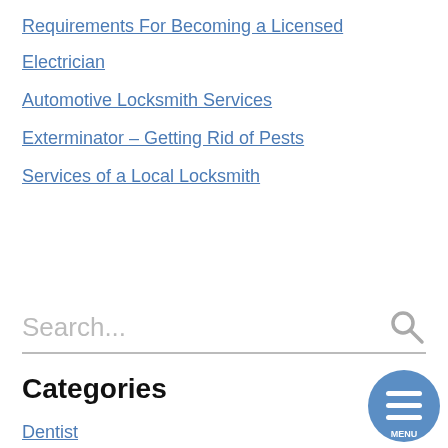Requirements For Becoming a Licensed Electrician
Automotive Locksmith Services
Exterminator – Getting Rid of Pests
Services of a Local Locksmith
Search...
Categories
Dentist
Electrician
Garage Door Repair
Locksmith